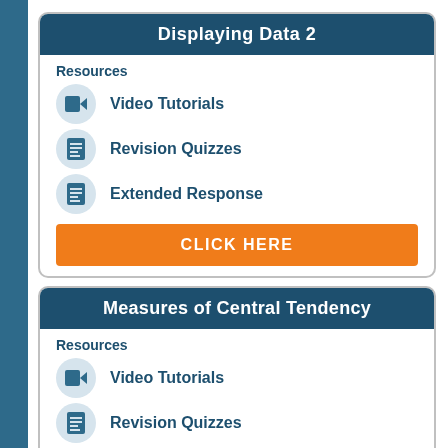Displaying Data 2
Resources
Video Tutorials
Revision Quizzes
Extended Response
CLICK HERE
Measures of Central Tendency
Resources
Video Tutorials
Revision Quizzes
Extended Response